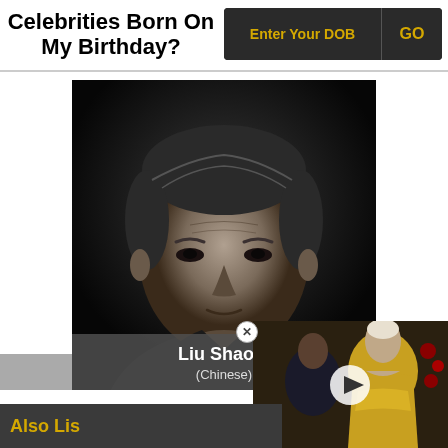Celebrities Born On My Birthday?
Enter Your DOB
GO
[Figure (photo): Black and white portrait photograph of Liu Shaoqi, an older East Asian man in formal attire]
Liu Shaoqi
(Chinese)
[Figure (photo): Video thumbnail showing a woman in a gold dress at what appears to be a red carpet event]
Also Lis